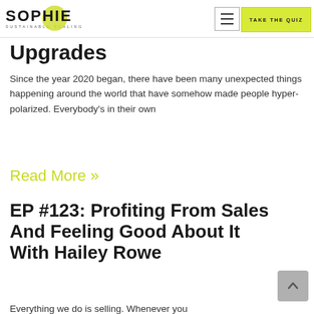SOPHIE SUSTAINABLE SCALING | TAKE THE QUIZ
Upgrades
Since the year 2020 began, there have been many unexpected things happening around the world that have somehow made people hyper-polarized. Everybody's in their own
Read More »
EP #123: Profiting From Sales And Feeling Good About It With Hailey Rowe
Everything we do is selling. Whenever you